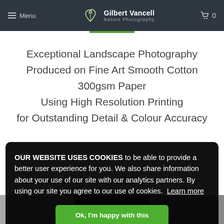Menu | Gilbert Vancell Nature Photography | Cart 0
Exceptional Landscape Photography Produced on Fine Art Smooth Cotton 300gsm Paper Using High Resolution Printing for Outstanding Detail & Colour Accuracy
OUR WEBSITE USES COOKIES to be able to provide a better user experience for you. We also share information about your use of our site with our analytics partners. By using our site you agree to our use of cookies. Learn more
Ok, I'm happy with this